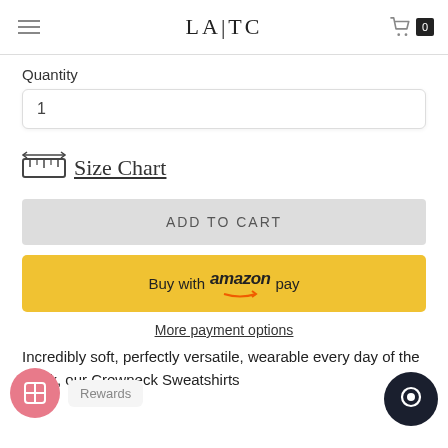LA|TC
Quantity
1
Size Chart
ADD TO CART
Buy with amazon pay
More payment options
Incredibly soft, perfectly versatile, wearable every day of the week, our Crewneck Sweatshirts